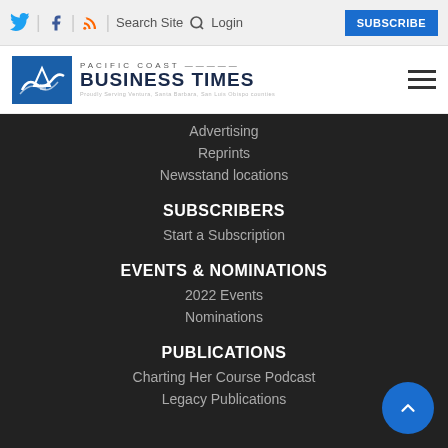Twitter | Facebook | RSS | Search Site | Login | SUBSCRIBE
[Figure (logo): Pacific Coast Business Times logo with blue box containing wave/boat design and text]
Advertising
Reprints
Newsstand locations
SUBSCRIBERS
Start a Subscription
EVENTS & NOMINATIONS
2022 Events
Nominations
PUBLICATIONS
Charting Her Course Podcast
Legacy Publications